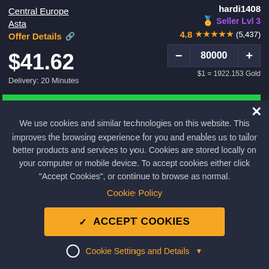Central Europe
Asta
Offer Details
hardi1408
Seller Lvl 3
4.8 ★★★★★ (5,437)
$41.62
Delivery: 20 Minutes
80000
$1 = 1922.153 Gold
We use cookies and similar technologies on this website. This improves the browsing experience for you and enables us to tailor better products and services to you. Cookies are stored locally on your computer or mobile device. To accept cookies either click "Accept Cookies", or continue to browse as normal.
Cookie Policy
ACCEPT COOKIES
Cookie Settings and Details